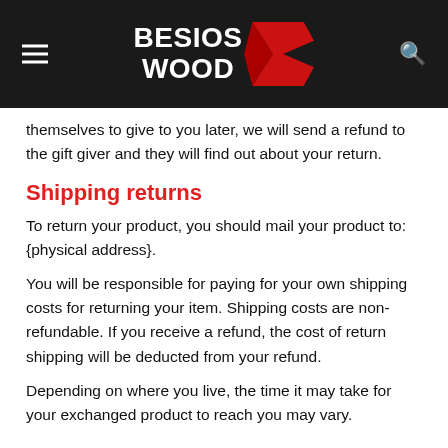BESIOS WOOD
themselves to give to you later, we will send a refund to the gift giver and they will find out about your return.
Shipping returns
To return your product, you should mail your product to: {physical address}.
You will be responsible for paying for your own shipping costs for returning your item. Shipping costs are non-refundable. If you receive a refund, the cost of return shipping will be deducted from your refund.
Depending on where you live, the time it may take for your exchanged product to reach you may vary.